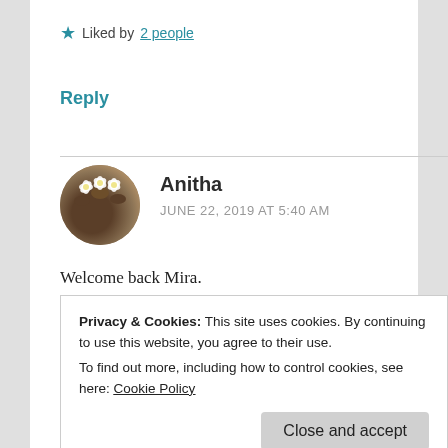★ Liked by 2 people
Reply
Anitha
JUNE 22, 2019 AT 5:40 AM
Welcome back Mira.
Your words have a way of slicing through our
Privacy & Cookies: This site uses cookies. By continuing to use this website, you agree to their use.
To find out more, including how to control cookies, see here: Cookie Policy
Close and accept
shaken up. It seems her life has been a battle so